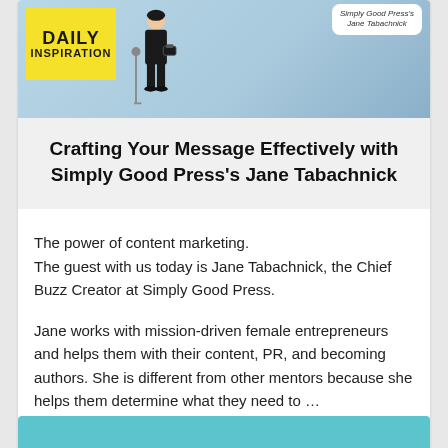[Figure (illustration): Daily Inspiration banner with yellow logo box reading DAILY INSPIRATION, an illustration of a woman figure, and a speech bubble with text about Simply Good Press's Jane Tabachnick]
Crafting Your Message Effectively with Simply Good Press's Jane Tabachnick
The power of content marketing.
The guest with us today is Jane Tabachnick, the Chief Buzz Creator at Simply Good Press.
Jane works with mission-driven female entrepreneurs and helps them with their content, PR, and becoming authors. She is different from other mentors because she helps them determine what they need to …
Read More